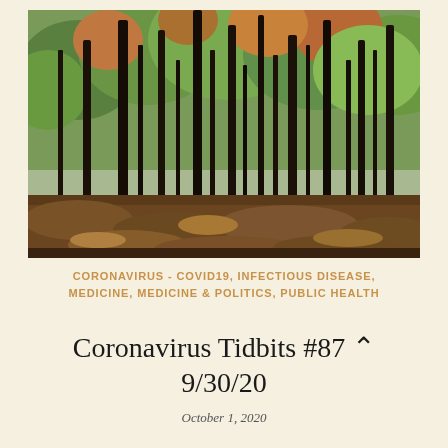[Figure (photo): Autumn forest scene showing tall dark tree trunks with green and reddish-orange foliage, fallen brown leaves covering the ground]
CORONAVIRUS - COVID19, INFECTIOUS DISEASE, MEDICINE, MEDICINE & POLITICS, PUBLIC HEALTH
Coronavirus Tidbits #87 ^
9/30/20
October 1, 2020